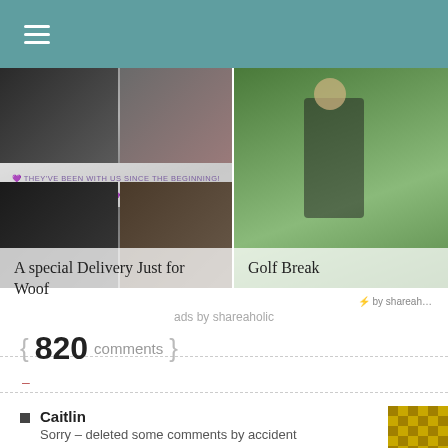≡ (navigation menu icon)
[Figure (photo): Blog post card with collage of dog photos and purple banner text 'THEY'VE BEEN WITH US SINCE THE BEGINNING!']
A special Delivery Just for Woof
[Figure (photo): Blog post card showing a child playing golf on a green course]
Golf Break
by shareaholic
ads by shareaholic
{ 820 comments }
–
Caitlin
Sorry – deleted some comments by accident